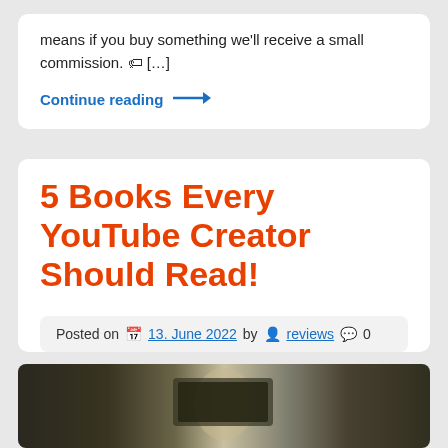means if you buy something we'll receive a small commission. 🏷 […]
Continue reading →
5 Books Every YouTube Creator Should Read!
Posted on 📅 13. June 2022 by 👤 reviews 💬 0
[Figure (photo): A person sitting in front of a framed picture or monitor, photographed in a dark setting]